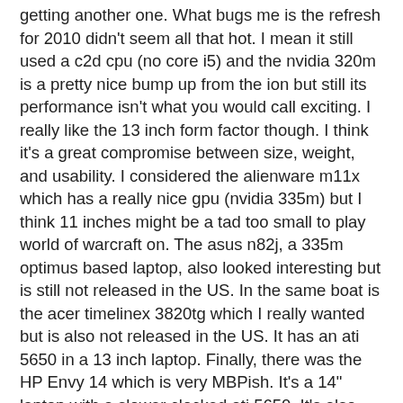getting another one. What bugs me is the refresh for 2010 didn't seem all that hot. I mean it still used a c2d cpu (no core i5) and the nvidia 320m is a pretty nice bump up from the ion but still its performance isn't what you would call exciting. I really like the 13 inch form factor though. I think it's a great compromise between size, weight, and usability. I considered the alienware m11x which has a really nice gpu (nvidia 335m) but I think 11 inches might be a tad too small to play world of warcraft on. The asus n82j, a 335m optimus based laptop, also looked interesting but is still not released in the US. In the same boat is the acer timelinex 3820tg which I really wanted but is also not released in the US. It has an ati 5650 in a 13 inch laptop. Finally, there was the HP Envy 14 which is very MBPish. It's a 14" laptop with a slower clocked ati 5650. It's also pretty pricey. I came really close to getting the envy. Then, I started looking at the macbook 15". It had the core i5 (turbo boost + hyperthreading ftw), a nvidia 330m which is about 8-10% slower than some of the other options I looked at, had good battery life, and has the advantage of being able to run osx and windows 7. My thoughts were I plan to do more coding on this laptop. With bootcamp I can have a full .net development environment